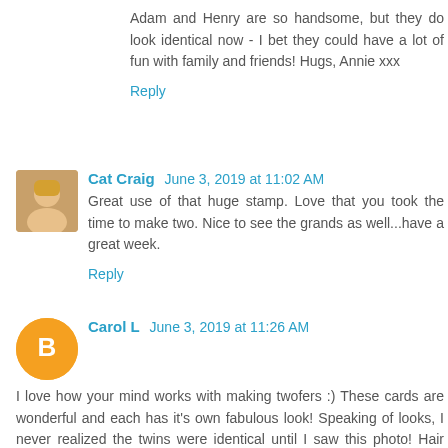Adam and Henry are so handsome, but they do look identical now - I bet they could have a lot of fun with family and friends! Hugs, Annie xxx
Reply
Cat Craig  June 3, 2019 at 11:02 AM
Great use of that huge stamp. Love that you took the time to make two. Nice to see the grands as well...have a great week.
Reply
Carol L  June 3, 2019 at 11:26 AM
I love how your mind works with making twofers :) These cards are wonderful and each has it's own fabulous look! Speaking of looks, I never realized the twins were identical until I saw this photo! Hair does make a completely different look eh? They are so handsome and growing up so quickly!